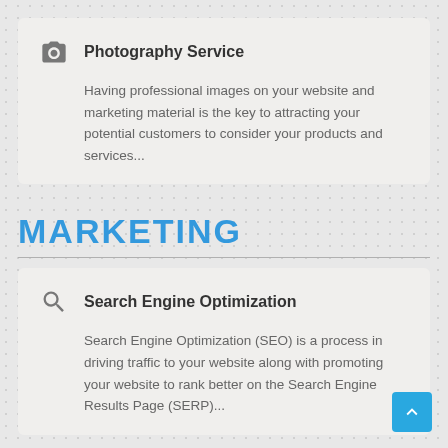Photography Service
Having professional images on your website and marketing material is the key to attracting your potential customers to consider your products and services...
MARKETING
Search Engine Optimization
Search Engine Optimization (SEO) is a process in driving traffic to your website along with promoting your website to rank better on the Search Engine Results Page (SERP)...